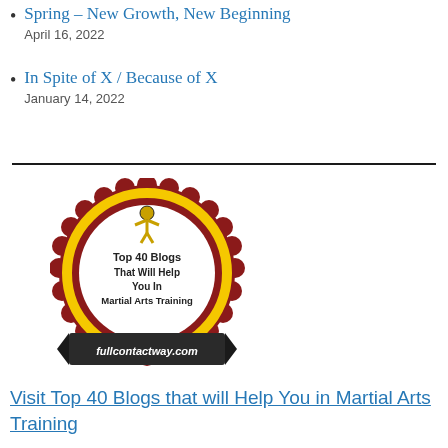Spring – New Growth, New Beginning
April 16, 2022
In Spite of X / Because of X
January 14, 2022
[Figure (logo): Badge logo for fullcontactway.com - Top 40 Blogs That Will Help You In Martial Arts Training, circular red/yellow badge with banner]
Visit Top 40 Blogs that will Help You in Martial Arts Training